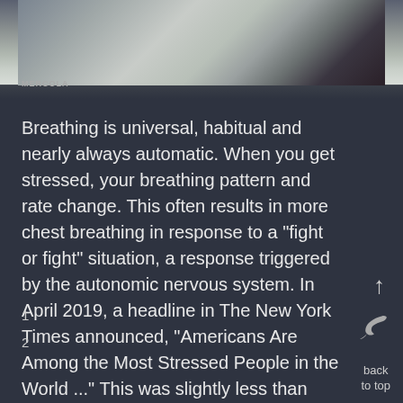[Figure (photo): Partial photo of a person's neck/chin area, with MERCOLA watermark text at the bottom left of the image]
Breathing is universal, habitual and nearly always automatic. When you get stressed, your breathing pattern and rate change. This often results in more chest breathing in response to a "fight or flight" situation, a response triggered by the autonomic nervous system. In April 2019, a headline in The New York Times announced, "Americans Are Among the Most Stressed People in the World ..." This was slightly less than one year before the
1
2